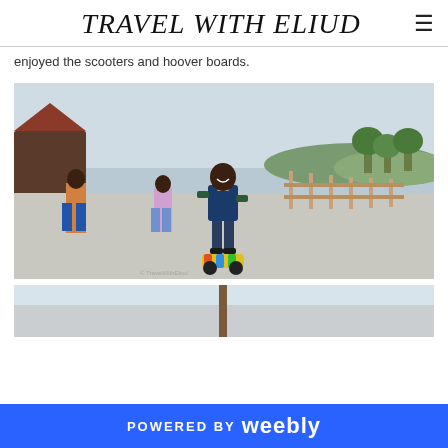TRAVEL WITH ELIUD
enjoyed the scooters and hoover boards.
[Figure (photo): A man smiling and riding a colorful hoverboard on a concrete path outdoors, with other people in the background, a wooden fence, green trees, and a barn structure on the left.]
[Figure (photo): Partial view of an outdoor scene, partially cut off at the bottom of the page.]
POWERED BY weebly